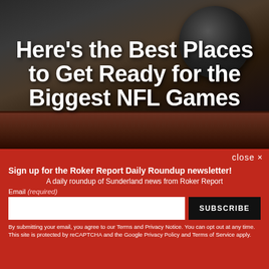[Figure (photo): Background photo of a BBQ grill with a kettle grill and grilled meat/ribs, dark tones]
Here's the Best Places to Get Ready for the Biggest NFL Games
close ×
Sign up for the Roker Report Daily Roundup newsletter!
A daily roundup of Sunderland news from Roker Report
Email (required)
SUBSCRIBE
By submitting your email, you agree to our Terms and Privacy Notice. You can opt out at any time. This site is protected by reCAPTCHA and the Google Privacy Policy and Terms of Service apply.